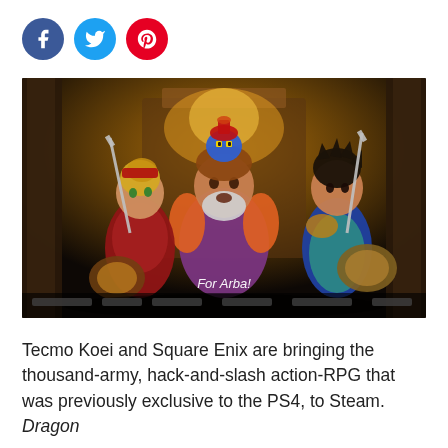[Figure (other): Social media share icons: Facebook (blue circle), Twitter (light blue circle), Pinterest (red circle)]
[Figure (screenshot): Screenshot from Dragon Quest Heroes game showing three characters: a female warrior in red armor with sword, a large bearded man in purple/orange armor, and a young male hero in blue clothing with sword and shield. A blue Slime mascot character sits on top. Text overlay reads 'For Arba!' Bottom shows game HUD elements. Scene set in ornate throne room.]
Tecmo Koei and Square Enix are bringing the thousand-army, hack-and-slash action-RPG that was previously exclusive to the PS4, to Steam. Dragon